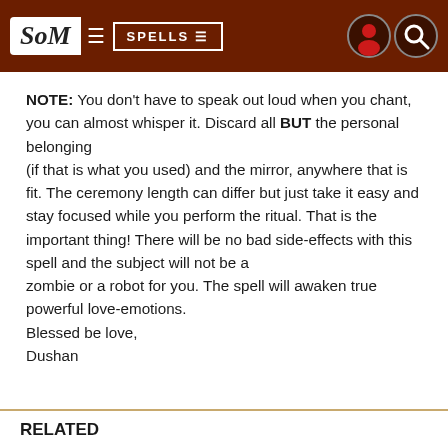SoM | SPELLS
NOTE: You don't have to speak out loud when you chant, you can almost whisper it. Discard all BUT the personal belonging
(if that is what you used) and the mirror, anywhere that is fit. The ceremony length can differ but just take it easy and stay focused while you perform the ritual. That is the important thing! There will be no bad side-effects with this spell and the subject will not be a
zombie or a robot for you. The spell will awaken true powerful love-emotions.
Blessed be love,
Dushan
RELATED